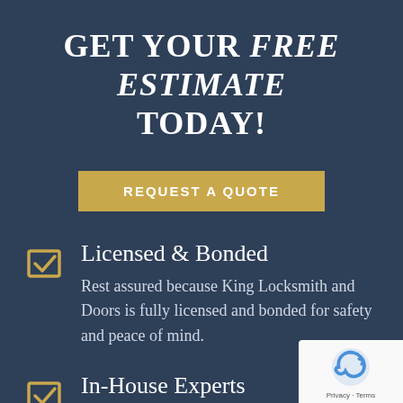GET YOUR FREE ESTIMATE TODAY!
REQUEST A QUOTE
Licensed & Bonded
Rest assured because King Locksmith and Doors is fully licensed and bonded for safety and peace of mind.
In-House Experts
We do not outsource for our work. You sa...